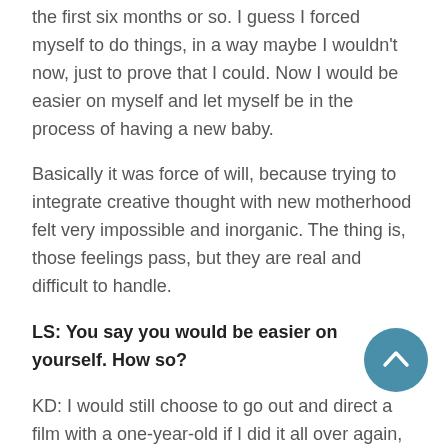the first six months or so. I guess I forced myself to do things, in a way maybe I wouldn't now, just to prove that I could. Now I would be easier on myself and let myself be in the process of having a new baby.
Basically it was force of will, because trying to integrate creative thought with new motherhood felt very impossible and inorganic. The thing is, those feelings pass, but they are real and difficult to handle.
LS: You say you would be easier on yourself. How so?
KD: I would still choose to go out and direct a film with a one-year-old if I did it all over again,